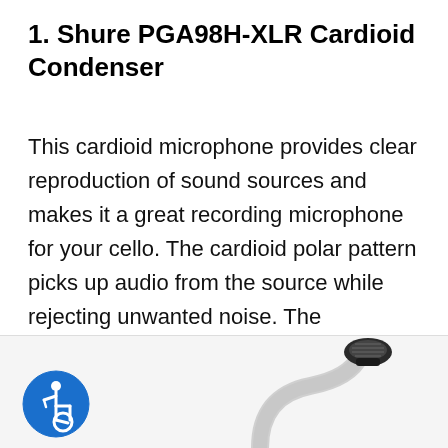1. Shure PGA98H-XLR Cardioid Condenser
This cardioid microphone provides clear reproduction of sound sources and makes it a great recording microphone for your cello. The cardioid polar pattern picks up audio from the source while rejecting unwanted noise. The gooseneck bends so that you can quickly and easily mount the microphone in the perfect position.
[Figure (photo): Bottom portion of page showing an accessibility icon (blue circle with white wheelchair user symbol) on the left, and a partial image of the Shure PGA98H-XLR microphone with a curved gooseneck neck and black capsule head on the right, on a light grey background strip.]